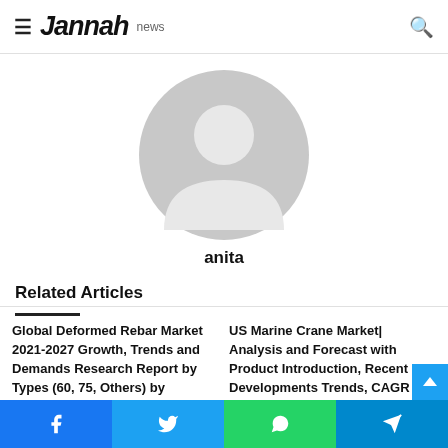≡ Jannah news [search icon]
[Figure (illustration): Default user avatar placeholder — grey circle with silhouette of a person (head and shoulders)]
anita
Related Articles
Global Deformed Rebar Market 2021-2027 Growth, Trends and Demands Research Report by Types (60, 75, Others) by
US Marine Crane Market| Analysis and Forecast with Product Introduction, Recent Developments Trends, CAGR Analysis, T
Facebook  Twitter  WhatsApp  Telegram